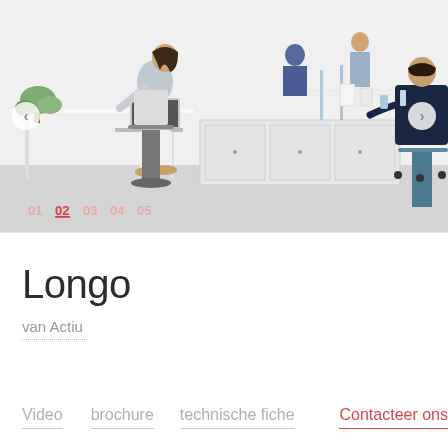[Figure (photo): Office environment photo showing workers at height-adjustable white desks. A woman in grey sits at a laptop on the left, two people stand/sit at desks in the background, and a man in navy sits at a desk on the far right. White office furniture, grey floor, light blue accents. Navigation arrows on left and right sides. Slide indicators 01 02 03 04 05 at bottom left with 02 active/underlined.]
Longo
van Actiu
Video   brochure   technische fiche   Contacteer ons